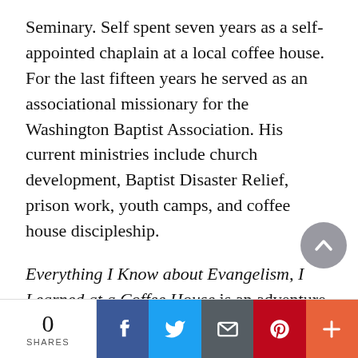Seminary. Self spent seven years as a self-appointed chaplain at a local coffee house. For the last fifteen years he served as an associational missionary for the Washington Baptist Association. His current ministries include church development, Baptist Disaster Relief, prison work, youth camps, and coffee house discipleship.
Everything I Know about Evangelism, I Learned at a Coffee House is an adventure into the world of authentic evangelism. The outreach methods used here will take one beyond traditional evangelistic approaches and unleash the power of the gospel in a bold way.
0 SHARES | Facebook | Twitter | Email | Pinterest | More